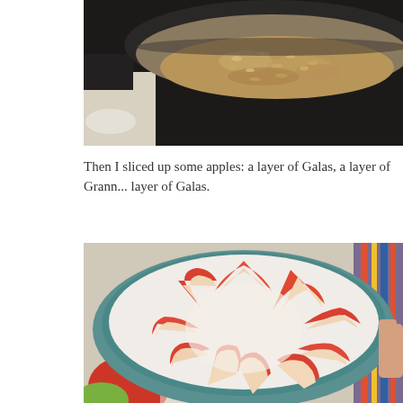[Figure (photo): Overhead view of oat-based crumble dough mixture in a stainless steel mixing bowl on a dark surface with flour dusted nearby]
Then I sliced up some apples: a layer of Galas, a layer of Grann... layer of Galas.
[Figure (photo): Overhead view of sliced red and cream-colored apple slices arranged in a circular fan pattern in a teal ceramic bowl, with whole apples and a striped cloth visible around the bowl]